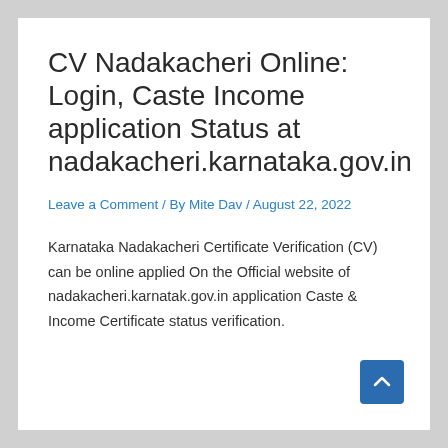CV Nadakacheri Online: Login, Caste Income application Status at nadakacheri.karnataka.gov.in
Leave a Comment / By Mite Dav / August 22, 2022
Karnataka Nadakacheri Certificate Verification (CV) can be online applied On the Official website of nadakacheri.karnatak.gov.in application Caste & Income Certificate status verification.